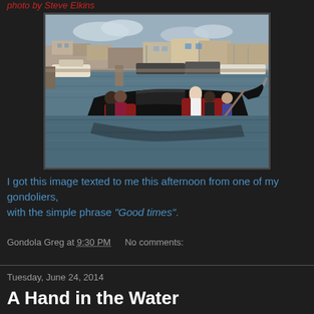photo by Steve Elkins
[Figure (photo): Gondola with passengers on a harbor waterway, marina with boats and buildings in background, gondolier in white shirt visible]
I got this image texted to me this afternoon from one of my gondoliers, with the simple phrase "Good times".
Gondola Greg at 9:30 PM   No comments:
Tuesday, June 24, 2014
A Hand in the Water